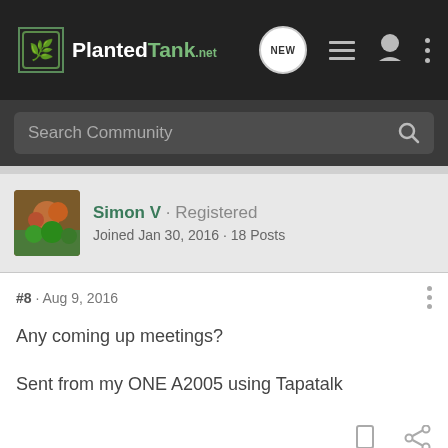PlantedTank
Search Community
Simon V · Registered
Joined Jan 30, 2016 · 18 Posts
#8 · Aug 9, 2016
Any coming up meetings?

Sent from my ONE A2005 using Tapatalk